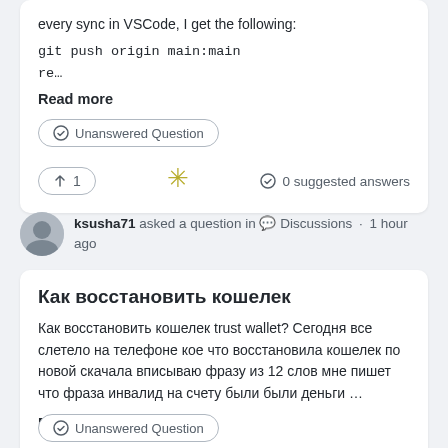every sync in VSCode, I get the following:
git push origin main:main
re…
Read more
Unanswered Question
↑ 1
0 suggested answers
ksusha71 asked a question in 💬 Discussions · 1 hour ago
Как восстановить кошелек
Как восстановить кошелек trust wallet? Сегодня все слетело на телефоне кое что восстановила кошелек по новой скачала вписываю фразу из 12 слов мне пишет что фраза инвалид на счету были были деньги …
Read more